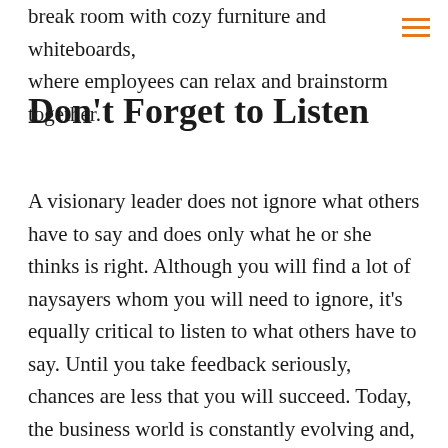break room with cozy furniture and whiteboards, where employees can relax and brainstorm together.
Don't Forget to Listen
A visionary leader does not ignore what others have to say and does only what he or she thinks is right. Although you will find a lot of naysayers whom you will need to ignore, it's equally critical to listen to what others have to say. Until you take feedback seriously, chances are less that you will succeed. Today, the business world is constantly evolving and, hence, it becomes essential for a leader to keep others' viewpoints and experiences in mind and make a well-informed decision.